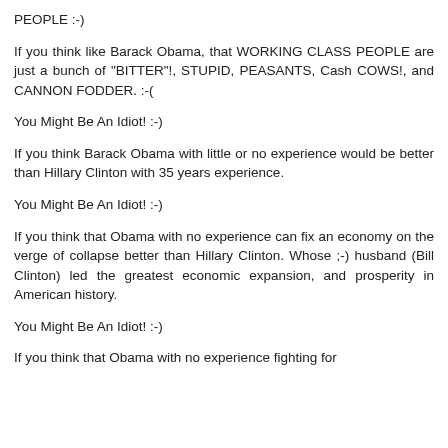PEOPLE :-)
If you think like Barack Obama, that WORKING CLASS PEOPLE are just a bunch of "BITTER"!, STUPID, PEASANTS, Cash COWS!, and CANNON FODDER. :-(
You Might Be An Idiot! :-)
If you think Barack Obama with little or no experience would be better than Hillary Clinton with 35 years experience.
You Might Be An Idiot! :-)
If you think that Obama with no experience can fix an economy on the verge of collapse better than Hillary Clinton. Whose ;-) husband (Bill Clinton) led the greatest economic expansion, and prosperity in American history.
You Might Be An Idiot! :-)
If you think that Obama with no experience fighting for